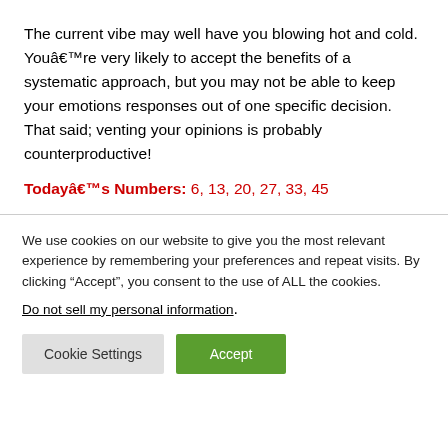The current vibe may well have you blowing hot and cold. Youâ€™re very likely to accept the benefits of a systematic approach, but you may not be able to keep your emotions responses out of one specific decision. That said; venting your opinions is probably counterproductive!
Todayâ€™s Numbers: 6, 13, 20, 27, 33, 45
We use cookies on our website to give you the most relevant experience by remembering your preferences and repeat visits. By clicking “Accept”, you consent to the use of ALL the cookies.
Do not sell my personal information.